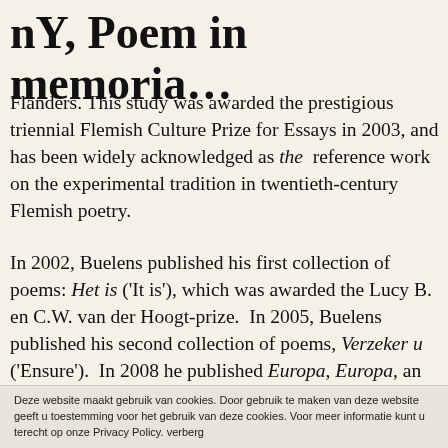nY, Poem in memoria…
Flanders. This study was awarded the prestigious triennial Flemish Culture Prize for Essays in 2003, and has been widely acknowledged as the reference work on the experimental tradition in twentieth-century Flemish poetry.
In 2002, Buelens published his first collection of poems: Het is ('It is'), which was awarded the Lucy B. en C.W. van der Hoogt-prize. In 2005, Buelens published his second collection of poems, Verzeker u ('Ensure'). In 2008 he published Europa, Europa, an essay book about the effect of the First World War on modern
Deze website maakt gebruik van cookies. Door gebruik te maken van deze website geeft u toestemming voor het gebruik van deze cookies. Voor meer informatie kunt u terecht op onze Privacy Policy. verberg